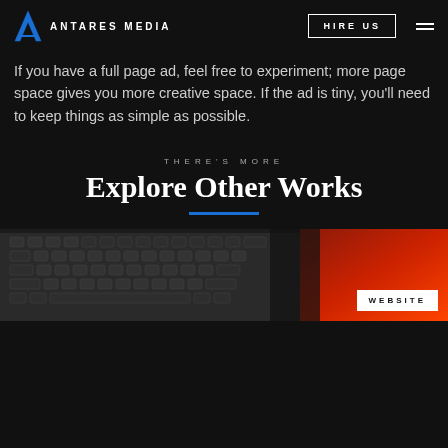ANTARES MEDIA | HIRE US
If you have a full page ad, feel free to experiment; more page space gives you more creative space. If the ad is tiny, you'll need to keep things as simple as possible.
THERE'S MORE
Explore Other Works
[Figure (photo): Laptop keyboard with red and dark background, with a WEBSITE label badge in the lower right corner.]